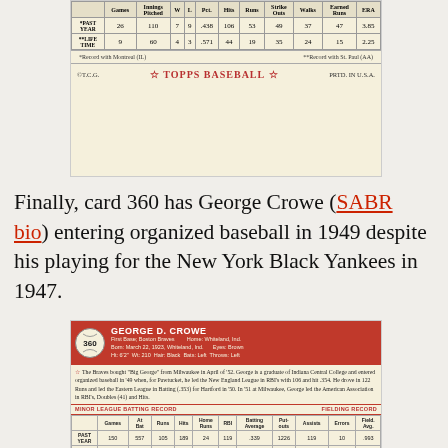[Figure (other): Back of a vintage Topps baseball card showing pitching statistics table with rows for PAST YEAR (26 G, 110 IP, 7 W, 9 L, .438 Pct, 106 Hits, 53 Runs, 49 Outs, 37 Walks, 47 Runs, 3.85 ERA) and LIFE TIME (9 G, 60 IP, 4 W, 3 L, .571 Pct, 44 Hits, 19 Runs, 35 Outs, 24 Walks, 15 Runs, 2.25 ERA), with note about Montreal (IL) and St. Paul (AA) records, and TOPPS BASEBALL branding]
Finally, card 360 has George Crowe (SABR bio) entering organized baseball in 1949 despite his playing for the New York Black Yankees in 1947.
[Figure (other): Back of 1952 Topps baseball card #360 for George D. Crowe, First Base, Boston Braves. Shows red header band with card number 360 and player info (Home: Whiteland, Ind., Born: March 22, 1923, Whiteland, Ind., Eyes: Brown, Ht: 6'2", Wt: 210, Hair: Black, Bats: Left, Throws: Left). Bio text describes Braves buying him from Milwaukee in April '52, Indiana Central College graduate, 1949 Pawtucket stats (New England League RBI leader with 106, hit .354), 122 Runs and Eastern League Batting (.353) for Hartford in '50, and 1951 Milwaukee American Association RBI's, Doubles (41) and Hits leader. Minor League Batting Record table: PAST YEAR - Games 150, At Bat 557, Runs 105, Hits 189, Home Runs 24, RBI 119, Batting Average .339, Put-outs 1226, Assists 119, Errors 10, Field. Avg. .993; LIFE TIME - Games 412, At Bat 1547, Runs 316, Hits 539, Home Runs 60, RBI 347, Batting Average .348, Put-outs 3364, Assists 275, Errors 58, Field. Avg. .984]